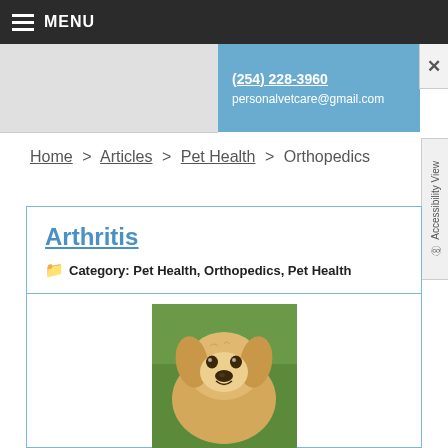MENU
(254) 228-3960
personalvetcare@gmail.com
Home > Articles > Pet Health > Orthopedics
Arthritis
Category: Pet Health, Orthopedics, Pet Health
[Figure (photo): Golden retriever dog looking at camera, outdoors with green background]
The most common type of arthritis is osteoarthritis which